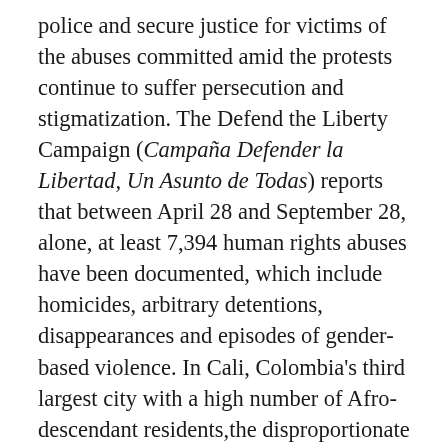police and secure justice for victims of the abuses committed amid the protests continue to suffer persecution and stigmatization. The Defend the Liberty Campaign (Campaña Defender la Libertad, Un Asunto de Todas) reports that between April 28 and September 28, alone, at least 7,394 human rights abuses have been documented, which include homicides, arbitrary detentions, disappearances and episodes of gender-based violence. In Cali, Colombia's third largest city with a high number of Afro-descendant residents,the disproportionate use of force employed by security forces was particularly acute, as the government deployed troops to quell the unrest. Social media networks were flooded with disturbing videos of the violence and abuses. In one egregious instance, an Indigenous Nasa caravan that entered the city in early May to